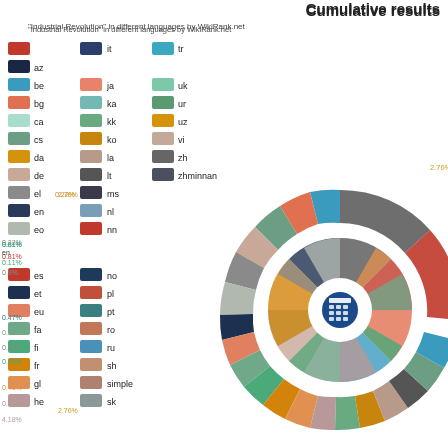Cumulative results
"Industrial Revolution" in different languages by WikiRank.net
[Figure (infographic): Donut/radial chart showing cumulative Wikipedia article quality results for 'Industrial Revolution' across many languages, with a legend of language codes and color swatches. The outer ring shows English (en) at 21% and a large red segment, with many smaller colored segments for other languages. Various percentage labels are shown around the chart including 21%, 0.52%, 2.30%, 0.06%, 0.54%, 0.18%, 0.81%, 0.35%, 4.18%, 0.0, and others.]